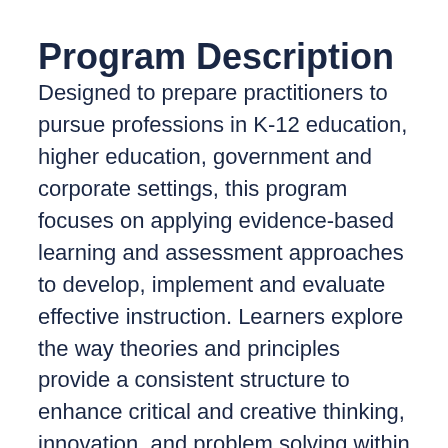Program Description
Designed to prepare practitioners to pursue professions in K-12 education, higher education, government and corporate settings, this program focuses on applying evidence-based learning and assessment approaches to develop, implement and evaluate effective instruction. Learners explore the way theories and principles provide a consistent structure to enhance critical and creative thinking, innovation, and problem solving within diverse professional and technical settings. By integrating technology, collaborative teams are able to accomplish projects through the